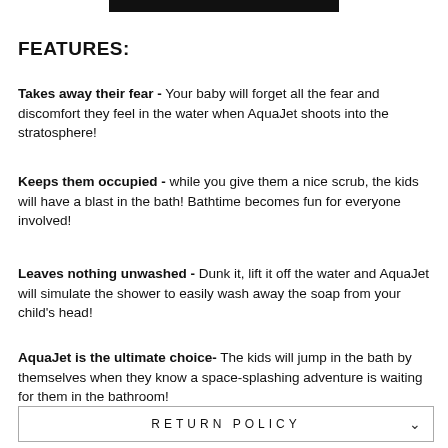[Figure (other): Black horizontal bar at top center of page]
FEATURES:
Takes away their fear - Your baby will forget all the fear and discomfort they feel in the water when AquaJet shoots into the stratosphere!
Keeps them occupied - while you give them a nice scrub, the kids will have a blast in the bath! Bathtime becomes fun for everyone involved!
Leaves nothing unwashed - Dunk it, lift it off the water and AquaJet will simulate the shower to easily wash away the soap from your child's head!
AquaJet is the ultimate choice- The kids will jump in the bath by themselves when they know a space-splashing adventure is waiting for them in the bathroom!
RETURN POLICY